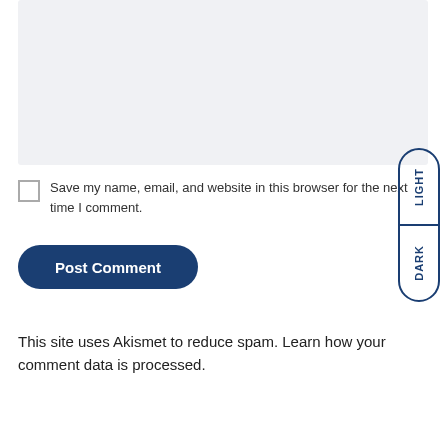[Figure (screenshot): Light grey textarea input box for comment entry]
Save my name, email, and website in this browser for the next time I comment.
Post Comment
[Figure (other): LIGHT / DARK theme toggle button on right side, pill-shaped with two sections]
This site uses Akismet to reduce spam. Learn how your comment data is processed.